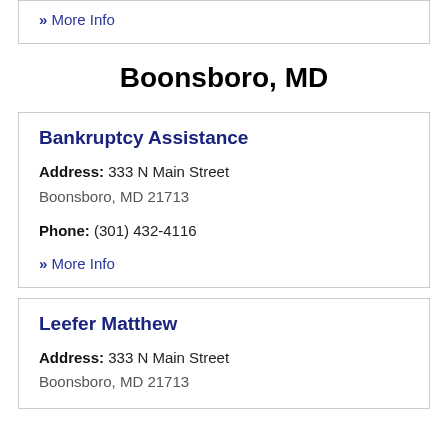» More Info
Boonsboro, MD
Bankruptcy Assistance
Address: 333 N Main Street Boonsboro, MD 21713
Phone: (301) 432-4116
» More Info
Leefer Matthew
Address: 333 N Main Street Boonsboro, MD 21713